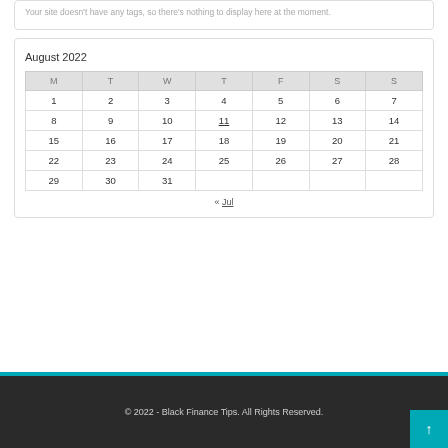Your site doesn't have any tags, so there's nothing to display here at the moment.
| M | T | W | T | F | S | S |
| --- | --- | --- | --- | --- | --- | --- |
| 1 | 2 | 3 | 4 | 5 | 6 | 7 |
| 8 | 9 | 10 | 11 | 12 | 13 | 14 |
| 15 | 16 | 17 | 18 | 19 | 20 | 21 |
| 22 | 23 | 24 | 25 | 26 | 27 | 28 |
| 29 | 30 | 31 |  |  |  |  |
« Jul
© 2022 - Black Finance Tips. All Rights Reserved.